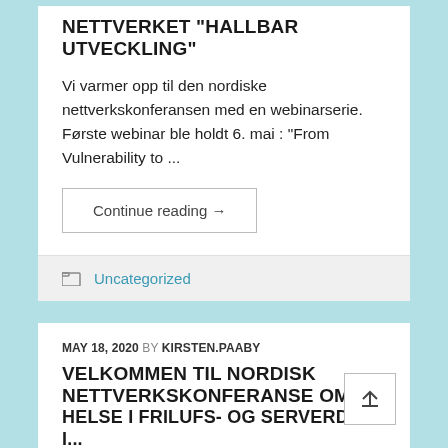NETTVERKET "HALLBAR UTVECKLING"
Vi varmer opp til den nordiske nettverkskonferansen med en webinarserie. Første webinar ble holdt 6. mai : "From Vulnerability to ...
Continue reading →
Uncategorized
MAY 18, 2020 BY KIRSTEN.PAABY
VELKOMMEN TIL NORDISK NETTVERKSKONFERANSE OM HELSE I FRILUFS- OG SERVERDER I...